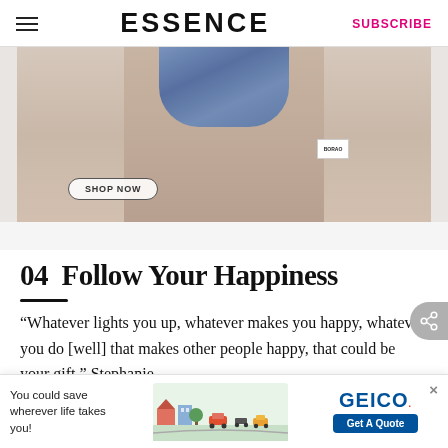ESSENCE   SUBSCRIBE
[Figure (photo): Fashion photo of a woman in a cropped denim vest and red bottoms, holding a product, with a SHOP NOW button overlay]
04  Follow Your Happiness
“Whatever lights you up, whatever makes you happy, whatever you do [well] that makes other people happy, that could be your gift,” Stephanie said. “The only way you can share in the world...
[Figure (infographic): GEICO advertisement banner: You could save wherever life takes you! with illustrated city/vehicles and Get A Quote button]